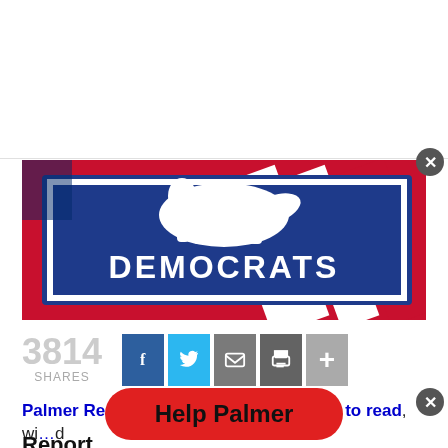[Figure (photo): Photo of a blue Democrats sign with donkey logo against American flag background]
3814 SHARES
[Figure (screenshot): Social share buttons: Facebook, Twitter, Email, Print, More (+)]
Palmer Report articles are all 100% free to read, wi... d
[Figure (other): Red Help Palmer button overlay]
Report